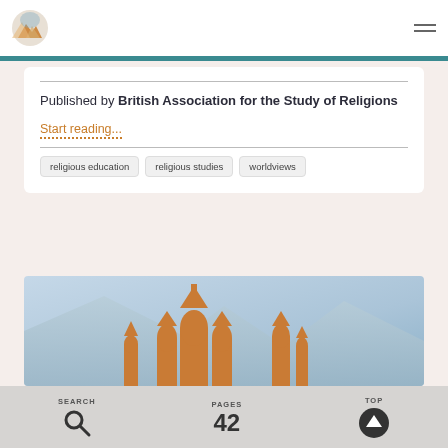British Association for the Study of Religions — site navigation
Published by British Association for the Study of Religions
Start reading...
religious education
religious studies
worldviews
[Figure (illustration): Silhouette of church domes in orange against a light blue sky background, with mountain shapes.]
SEARCH | PAGES 42 | TOP